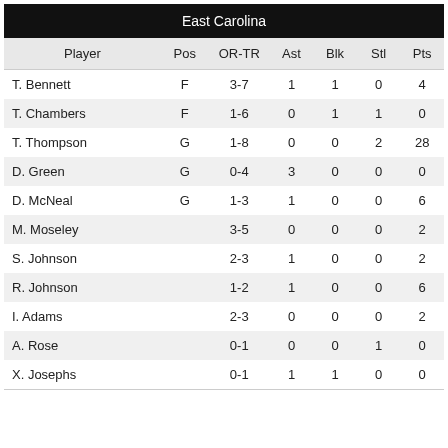| Player | Pos | OR-TR | Ast | Blk | Stl | Pts |
| --- | --- | --- | --- | --- | --- | --- |
| T. Bennett | F | 3-7 | 1 | 1 | 0 | 4 |
| T. Chambers | F | 1-6 | 0 | 1 | 1 | 0 |
| T. Thompson | G | 1-8 | 0 | 0 | 2 | 28 |
| D. Green | G | 0-4 | 3 | 0 | 0 | 0 |
| D. McNeal | G | 1-3 | 1 | 0 | 0 | 6 |
| M. Moseley |  | 3-5 | 0 | 0 | 0 | 2 |
| S. Johnson |  | 2-3 | 1 | 0 | 0 | 2 |
| R. Johnson |  | 1-2 | 1 | 0 | 0 | 6 |
| I. Adams |  | 2-3 | 0 | 0 | 0 | 2 |
| A. Rose |  | 0-1 | 0 | 0 | 1 | 0 |
| X. Josephs |  | 0-1 | 1 | 1 | 0 | 0 |